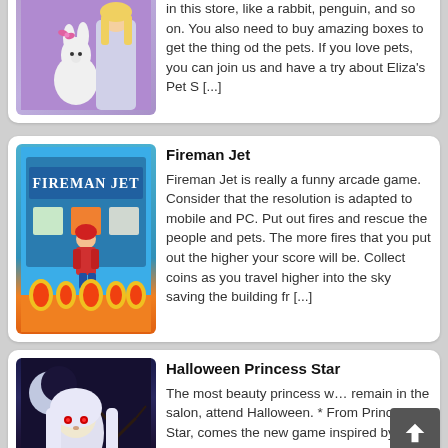[Figure (illustration): Game thumbnail for Eliza's Pet Shop showing a girl and a white rabbit with purple background]
in this store, like a rabbit, penguin, and so on. You also need to buy amazing boxes to get the thing od the pets. If you love pets, you can join us and have a try about Eliza's Pet S [...]
Fireman Jet
[Figure (illustration): Game thumbnail for Fireman Jet showing a fireman character in front of a blue building with fire at the bottom]
Fireman Jet is really a funny arcade game. Consider that the resolution is adapted to mobile and PC. Put out fires and rescue the people and pets. The more fires that you put out the higher your score will be. Collect coins as you travel higher into the sky saving the building fr [...]
Halloween Princess Star
[Figure (illustration): Game thumbnail for Halloween Princess Star showing a princess with white hair against a dark Halloween night sky]
The most beauty princess w… remain in the salon, attend Halloween. * From Princess Star, comes the new game inspired by